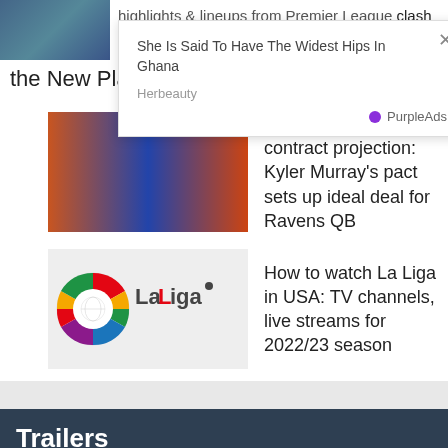[Figure (screenshot): Partial thumbnail of a sports article about Premier League highlights and lineups]
highlights & lineups from Premier League clash
[Figure (screenshot): Ad popup overlay with close button showing article 'She Is Said To Have The Widest Hips In Ghana' from Herbeauty, with PurpleAds branding]
the New Players of the GoT Prequel
[Figure (photo): Thumbnail showing NFL quarterbacks including Lamar Jackson and Kyler Murray]
Lamar Jackson contract projection: Kyler Murray's pact sets up ideal deal for Ravens QB
[Figure (logo): La Liga logo]
How to watch La Liga in USA: TV channels, live streams for 2022/23 season
Trailers
[Figure (photo): Thumbnail of a person for Full Bloom Season 2 trailer]
FULL BLOOM Season 2 Official Trailer (2021) HBO Max Series